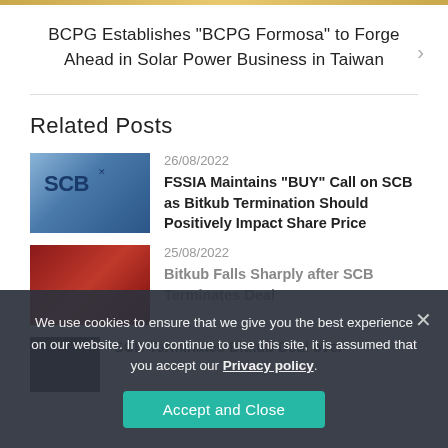BCPG Establishes “BCPG Formosa” to Forge Ahead in Solar Power Business in Taiwan
Related Posts
26/08/2022
FSSIA Maintains “BUY” Call on SCB as Bitkub Termination Should Positively Impact Share Price
25/08/2022
Bitkub Falls Sharply after SCB Terminates Deal
[Figure (screenshot): Cookie consent overlay with Accept and Close button]
SCB Terminates Bitkub Deal over